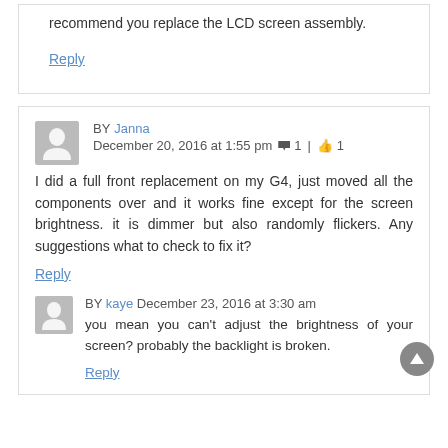recommend you replace the LCD screen assembly.
Reply
BY Janna December 20, 2016 at 1:55 pm 1 | 1
I did a full front replacement on my G4, just moved all the components over and it works fine except for the screen brightness. it is dimmer but also randomly flickers. Any suggestions what to check to fix it?
Reply
BY kaye December 23, 2016 at 3:30 am
you mean you can't adjust the brightness of your screen? probably the backlight is broken.
Reply